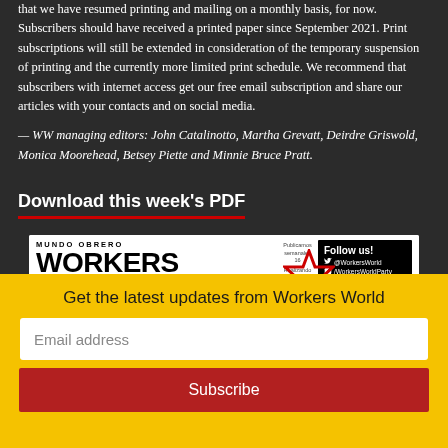that we have resumed printing and mailing on a monthly basis, for now. Subscribers should have received a printed paper since September 2021. Print subscriptions will still be extended in consideration of the temporary suspension of printing and the currently more limited print schedule. We recommend that subscribers with internet access get our free email subscription and share our articles with your contacts and on social media.
— WW managing editors: John Catalinotto, Martha Grevatt, Deirdre Griswold, Monica Moorehead, Betsey Piette and Minnie Bruce Pratt.
Download this week's PDF
[Figure (screenshot): Thumbnail of Workers World / Mundo Obrero newspaper PDF showing masthead with red star logo, 'Follow us!' social media box, and headline 'Starbucks worker militancy']
Get the latest updates from Workers World
Email address
Subscribe